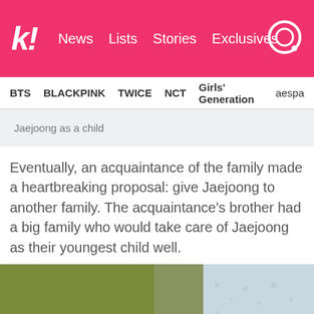k! News Lists Stories Exclusives
BTS  BLACKPINK  TWICE  NCT  Girls' Generation  aespa
Jaejoong as a child
Eventually, an acquaintance of the family made a heartbreaking proposal: give Jaejoong to another family. The acquaintance's brother had a big family who would take care of Jaejoong as their youngest child well.
[Figure (photo): Photo of Jaejoong as a child, partially visible, lying down on a wooden surface with a light patterned fabric.]